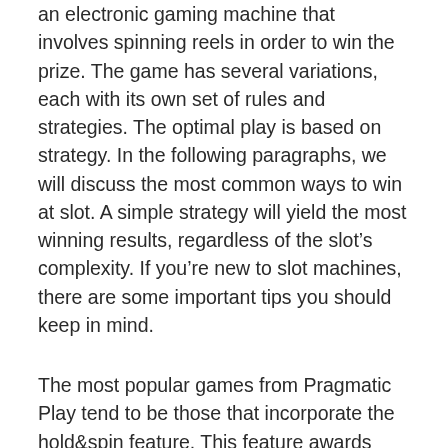an electronic gaming machine that involves spinning reels in order to win the prize. The game has several variations, each with its own set of rules and strategies. The optimal play is based on strategy. In the following paragraphs, we will discuss the most common ways to win at slot. A simple strategy will yield the most winning results, regardless of the slot's complexity. If you're new to slot machines, there are some important tips you should keep in mind.
The most popular games from Pragmatic Play tend to be those that incorporate the hold&spin feature. This feature awards credits if special symbols land on the screen during this feature. Special symbols will stay on the screen until another symbol lands. While Pragmatic does not usually release slots with low risk, Reel Kingdom